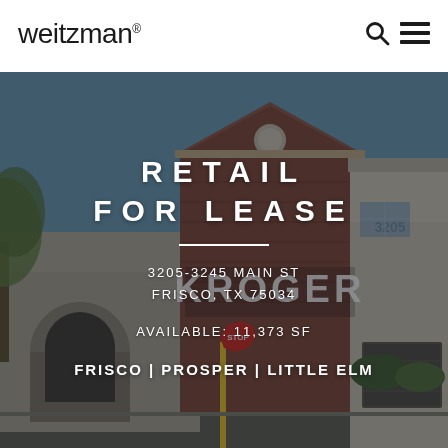weitzman®
[Figure (photo): Exterior photograph of a Kroger-anchored retail shopping center at 3205 Main St, Frisco TX. Shows the Kroger storefront with brick and stone facade, arched entrance, and address number 3205 visible. Blue sky background, trees on left. Image has a dark semi-transparent overlay.]
RETAIL
FOR LEASE
3205-3245 MAIN ST
FRISCO, TX 75034
AVAILABLE: 11,373 SF
FRISCO | PROSPER | LITTLE ELM